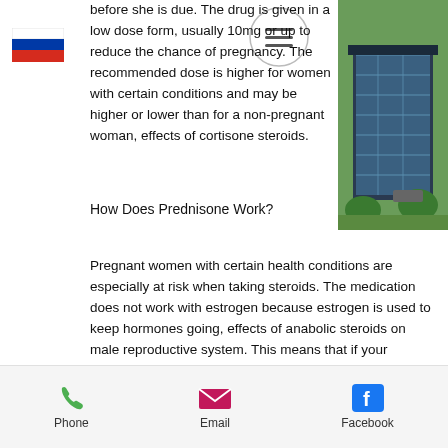[Figure (illustration): Russian flag icon (tricolor: white, blue, red stripes)]
[Figure (illustration): Hamburger menu icon inside a circle]
[Figure (photo): Photo of a modern glass office building with trees]
before she is due. The drug is given in a low dose form, usually 10mg or up to reduce the chance of pregnancy. The recommended dose is higher for women with certain conditions and may be higher or lower than for a non-pregnant woman, effects of cortisone steroids.
How Does Prednisone Work?
Pregnant women with certain health conditions are especially at risk when taking steroids. The medication does not work with estrogen because estrogen is used to keep hormones going, effects of anabolic steroids on male reproductive system. This means that if your hormones are too high, your body does NOT work properly to get used to the changes, effects of quitting steroids. In fact, if
Phone   Email   Facebook